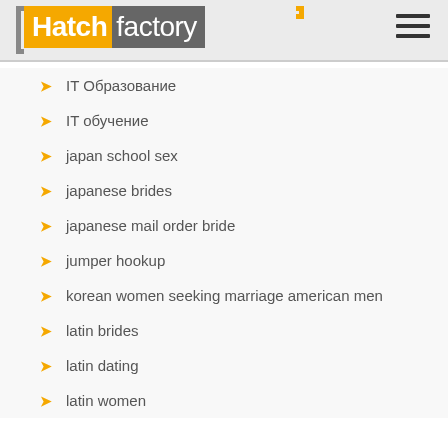Hatchfactory
IT Образование
IT обучение
japan school sex
japanese brides
japanese mail order bride
jumper hookup
korean women seeking marriage american men
latin brides
latin dating
latin women